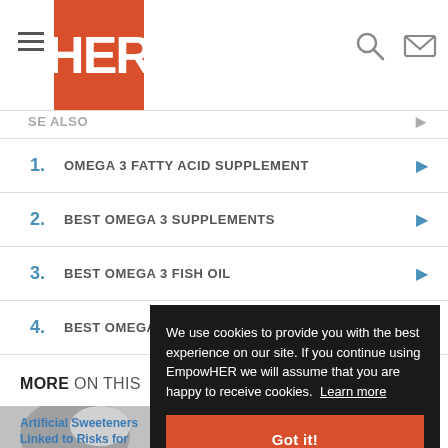HER
1. OMEGA 3 FATTY ACID SUPPLEMENT
2. BEST OMEGA 3 SUPPLEMENTS
3. BEST OMEGA 3 FISH OIL
4. BEST OMEGA 3 VITAMINS
MORE ON THIS
We use cookies to provide you with the best experience on our site. If you continue using EmpowHER we will assume that you are happy to receive cookies. Learn more
Got it!
Artificial Sweeteners Linked to Risks for
Diabetes Drug May Reduce Risks of